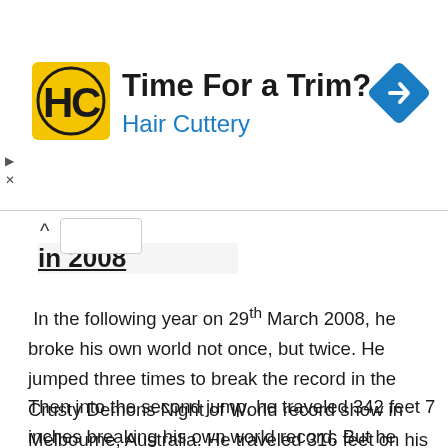[Figure (screenshot): Advertisement banner for Hair Cuttery. Shows Hair Cuttery logo (yellow square with HC letters), heading 'Time For a Trim?', subheading 'Hair Cuttery' in blue, and a blue diamond navigation arrow icon on the right.]
in 2008
In the following year on 29th March 2008, he broke his own world not once, but twice. He jumped three times to break the record in the Crusty Demons Night of World record show in Melbourne, Australia. He traveled 316 feet on his first jump, and he was dissatisfied.
Then into the second jump, he traveled 342 feet 7 inches breaking his own world record. But he